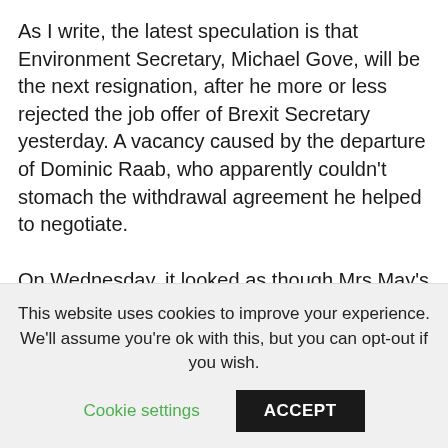As I write, the latest speculation is that Environment Secretary, Michael Gove, will be the next resignation, after he more or less rejected the job offer of Brexit Secretary yesterday. A vacancy caused by the departure of Dominic Raab, who apparently couldn't stomach the withdrawal agreement he helped to negotiate.
On Wednesday, it looked as though Mrs May's last minute EU endorsed agreement had just squeaked through her cabinet after a five hour meeting.
This website uses cookies to improve your experience. We'll assume you're ok with this, but you can opt-out if you wish. Cookie settings  ACCEPT